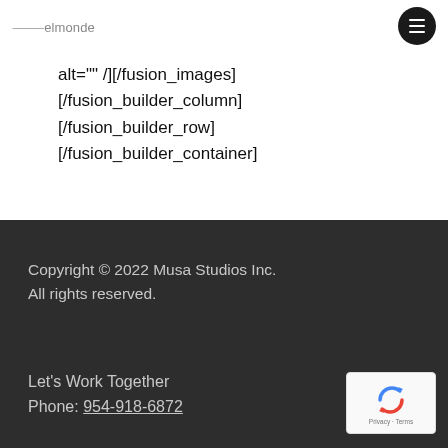Selmonde [logo] | [menu button]
alt="" /][/fusion_images]
[/fusion_builder_column]
[/fusion_builder_row]
[/fusion_builder_container]
Copyright © 2022 Musa Studios Inc.
All rights reserved.

Let's Work Together
Phone: 954-918-6872